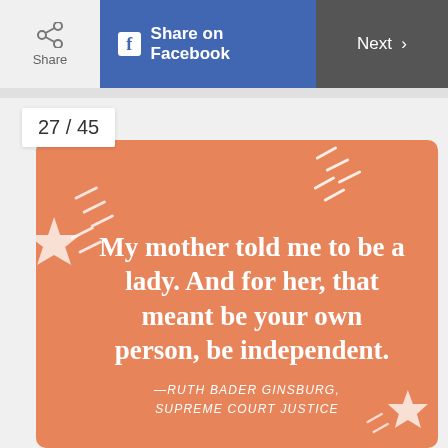Share  |  Share on Facebook  |  Next >
27 / 45
[Figure (illustration): Orange square quote card with white decorative stars and dash marks. Contains a bold white serif quote: 'My mother told me to be a lady. And for her, that meant be your own person, be independent.' with attribution '—RUTH BADER GINSBURG, SUPREME COURT JUSTICE']
My mother told me to be a lady. And for her, that meant be your own person, be independent.
—RUTH BADER GINSBURG, SUPREME COURT JUSTICE